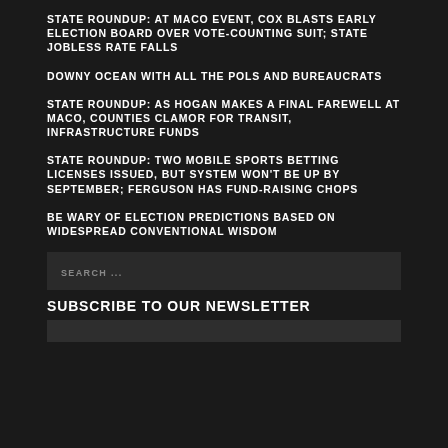STATE ROUNDUP: AT MACO EVENT, COX BLASTS EARLY ELECTION BOARD OVER VOTE-COUNTING SUIT; STATE JOBLESS RATE FALLS
DOWNY OCEAN WITH ALL THE POLS AND BUREAUCRATS
STATE ROUNDUP: AS HOGAN MAKES A FINAL FAREWELL AT MACO, COUNTIES CLAMOR FOR TRANSIT, INFRASTRUCTURE FUNDS
STATE ROUNDUP: TWO MOBILE SPORTS BETTING LICENSES ISSUED, BUT SYSTEM WON'T BE UP BY SEPTEMBER; FERGUSON HAS FUND-RAISING CHOPS
BE WARY OF ELECTION PREDICTIONS BASED ON WIDESPREAD CONVENTIONAL WISDOM
SEARCH ...
SUBSCRIBE TO OUR NEWSLETTER